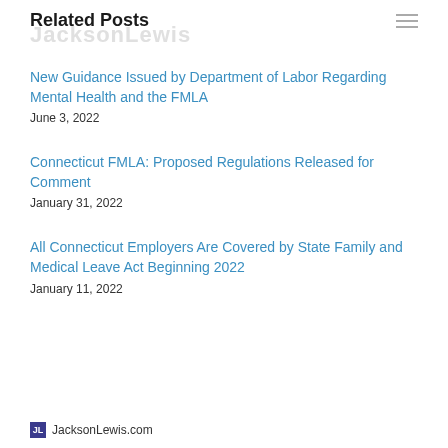Related Posts
JacksonLewis
New Guidance Issued by Department of Labor Regarding Mental Health and the FMLA
June 3, 2022
Connecticut FMLA: Proposed Regulations Released for Comment
January 31, 2022
All Connecticut Employers Are Covered by State Family and Medical Leave Act Beginning 2022
January 11, 2022
JacksonLewis.com